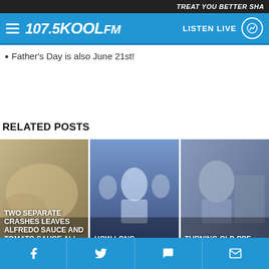TREAT YOU BETTER SHA
107.5 KOOL FM — LISTEN LIVE
Father's Day is also June 21st!
RELATED POSTS
[Figure (photo): Food with alfredo sauce on highway — TWO SEPARATE CRASHES LEAVES ALFREDO SAUCE AND TOMATO SAUCE ALL OVER A HIGHWAY]
[Figure (photo): Man cheering watching sports — HOW LONG HAPPINESS LASTS]
[Figure (photo): Healthcare worker in PPE mask and goggles, construction worker — TURNING OLD PPE INTO CONCRETE!]
Social links: Facebook, Twitter, Chat, Email